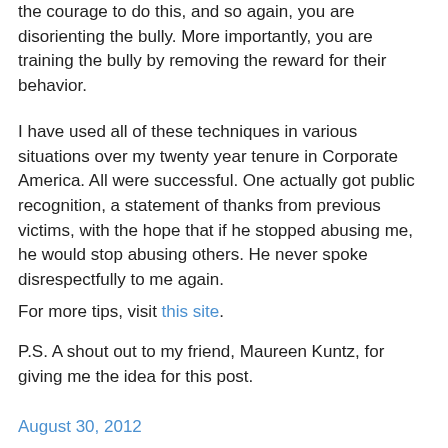the courage to do this, and so again, you are disorienting the bully. More importantly, you are training the bully by removing the reward for their behavior.
I have used all of these techniques in various situations over my twenty year tenure in Corporate America. All were successful. One actually got public recognition, a statement of thanks from previous victims, with the hope that if he stopped abusing me, he would stop abusing others. He never spoke disrespectfully to me again.
For more tips, visit this site.
P.S. A shout out to my friend, Maureen Kuntz, for giving me the idea for this post.
August 30, 2012